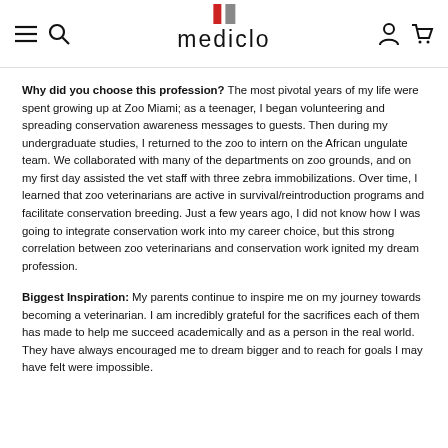mediclo
Why did you choose this profession? The most pivotal years of my life were spent growing up at Zoo Miami; as a teenager, I began volunteering and spreading conservation awareness messages to guests. Then during my undergraduate studies, I returned to the zoo to intern on the African ungulate team. We collaborated with many of the departments on zoo grounds, and on my first day assisted the vet staff with three zebra immobilizations. Over time, I learned that zoo veterinarians are active in survival/reintroduction programs and facilitate conservation breeding. Just a few years ago, I did not know how I was going to integrate conservation work into my career choice, but this strong correlation between zoo veterinarians and conservation work ignited my dream profession.
Biggest Inspiration: My parents continue to inspire me on my journey towards becoming a veterinarian. I am incredibly grateful for the sacrifices each of them has made to help me succeed academically and as a person in the real world. They have always encouraged me to dream bigger and to reach for goals I may have felt were impossible.